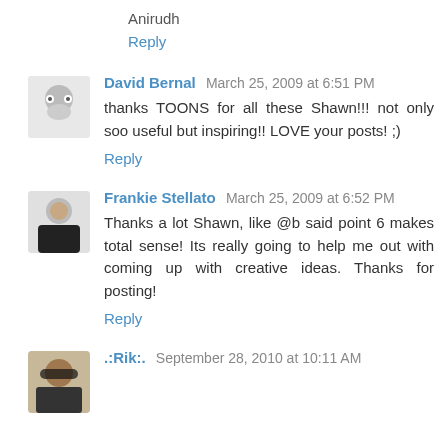Anirudh
Reply
David Bernal  March 25, 2009 at 6:51 PM
thanks TOONS for all these Shawn!!! not only soo useful but inspiring!! LOVE your posts! ;)
Reply
Frankie Stellato  March 25, 2009 at 6:52 PM
Thanks a lot Shawn, like @b said point 6 makes total sense! Its really going to help me out with coming up with creative ideas. Thanks for posting!
Reply
.:Rik:.  September 28, 2010 at 10:11 AM